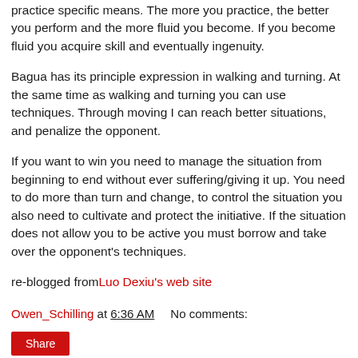practice specific means. The more you practice, the better you perform and the more fluid you become. If you become fluid you acquire skill and eventually ingenuity.
Bagua has its principle expression in walking and turning. At the same time as walking and turning you can use techniques. Through moving I can reach better situations, and penalize the opponent.
If you want to win you need to manage the situation from beginning to end without ever suffering/giving it up. You need to do more than turn and change, to control the situation you also need to cultivate and protect the initiative. If the situation does not allow you to be active you must borrow and take over the opponent's techniques.
re-blogged from Luo Dexiu's web site
Owen_Schilling at 6:36 AM    No comments:
Share